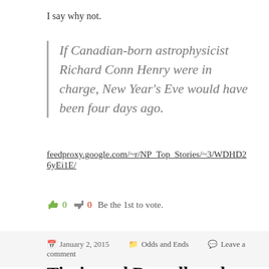I say why not.
If Canadian-born astrophysicist Richard Conn Henry were in charge, New Year's Eve would have been four days ago.
feedproxy.google.com/~r/NP_Top_Stories/~3/WDHD26yEi1E/
0  0  Be the 1st to vote.
January 2, 2015   Odds and Ends   Leave a comment
Tintin and Degrelle – the ironies of history